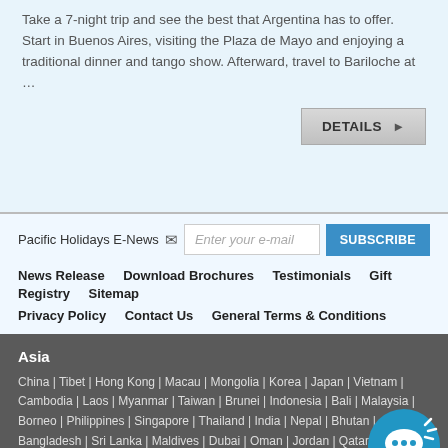Take a 7-night trip and see the best that Argentina has to offer. Start in Buenos Aires, visiting the Plaza de Mayo and enjoying a traditional dinner and tango show. Afterward, travel to Bariloche at ...
DETAILS
Pacific Holidays E-News
Enter your e-mail
SUBSCRIBE
News Release
Download Brochures
Testimonials
Gift Registry
Sitemap
Privacy Policy
Contact Us
General Terms & Conditions
Asia
China | Tibet | Hong Kong | Macau | Mongolia | Korea | Japan | Vietnam | Cambodia | Laos | Myanmar | Taiwan | Brunei | Indonesia | Bali | Malaysia | Borneo | Philippines | Singapore | Thailand | India | Nepal | Bhutan | Bangladesh | Sri Lanka | Maldives | Dubai | Oman | Jordan | Qatar | Isra...
Latin America
Bolivia | Costa Rica | Guatemala | El Salvador | Honduras | Mexico | Nica...